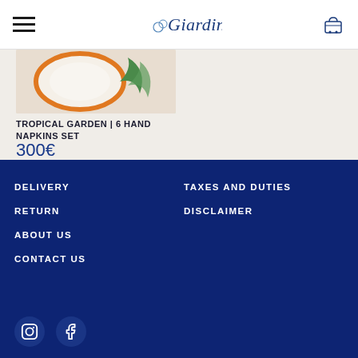Giardino — navigation header with hamburger menu and cart icon
[Figure (photo): Product thumbnail showing plate with orange rim and tropical leaf on light beige/cream background]
TROPICAL GARDEN | 6 HAND NAPKINS SET
300€
DELIVERY
RETURN
ABOUT US
CONTACT US
TAXES AND DUTIES
DISCLAIMER
[Figure (logo): Instagram icon circle]
[Figure (logo): Facebook icon circle]